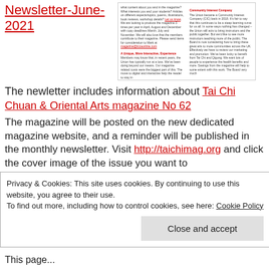Newsletter-June-2021
[Figure (screenshot): Preview thumbnail of a newsletter page with two columns of small text content]
The newletter includes information about Tai Chi Chuan & Oriental Arts magazine No 62
The magazine will be posted on the new dedicated magazine website, and a reminder will be published in the monthly newsletter. Visit http://taichimag.org and click the cover image of the issue you want to read. More issues will be added over time.
Privacy & Cookies: This site uses cookies. By continuing to use this website, you agree to their use.
To find out more, including how to control cookies, see here: Cookie Policy
This page...